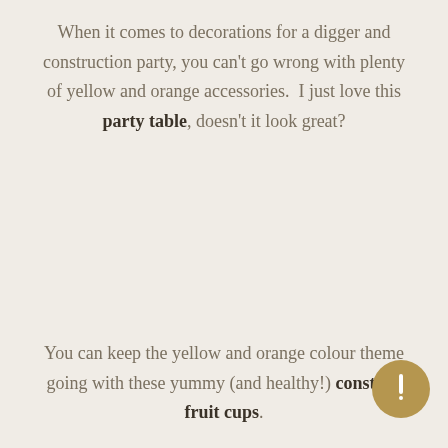When it comes to decorations for a digger and construction party, you can't go wrong with plenty of yellow and orange accessories.  I just love this party table, doesn't it look great?
You can keep the yellow and orange colour theme going with these yummy (and healthy!) construction fruit cups.